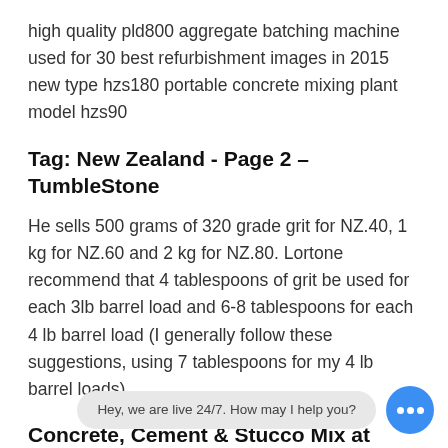high quality pld800 aggregate batching machine used for 30 best refurbishment images in 2015 new type hzs180 portable concrete mixing plant model hzs90
Tag: New Zealand - Page 2 – TumbleStone
He sells 500 grams of 320 grade grit for NZ.40, 1 kg for NZ.60 and 2 kg for NZ.80. Lortone recommend that 4 tablespoons of grit be used for each 3lb barrel load and 6-8 tablespoons for each 4 lb barrel load (I generally follow these suggestions, using 7 tablespoons for my 4 lb barrel loads).
Concrete, Cement & Stucco Mix at Lowes.com
Hey, we are live 24/7. How may I help you?